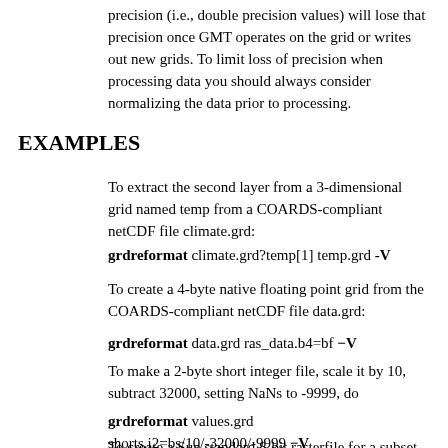precision (i.e., double precision values) will lose that precision once GMT operates on the grid or writes out new grids. To limit loss of precision when processing data you should always consider normalizing the data prior to processing.
EXAMPLES
To extract the second layer from a 3-dimensional grid named temp from a COARDS-compliant netCDF file climate.grd:
grdreformat climate.grd?temp[1] temp.grd -V
To create a 4-byte native floating point grid from the COARDS-compliant netCDF file data.grd:
grdreformat data.grd ras_data.b4=bf −V
To make a 2-byte short integer file, scale it by 10, subtract 32000, setting NaNs to -9999, do
grdreformat values.grd shorts.i2=bs/10/-32000/-9999 −V
To create a Sun standard 8-bit rasterfile for a subset of the